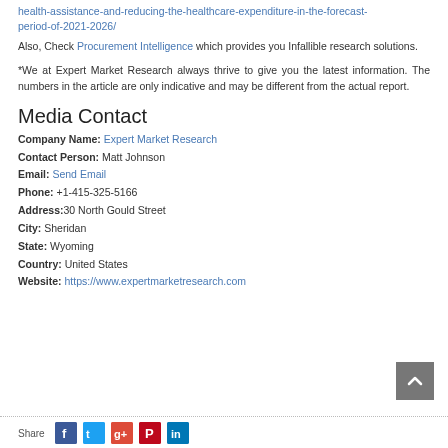health-assistance-and-reducing-the-healthcare-expenditure-in-the-forecast-period-of-2021-2026/
Also, Check Procurement Intelligence which provides you Infallible research solutions.
*We at Expert Market Research always thrive to give you the latest information. The numbers in the article are only indicative and may be different from the actual report.
Media Contact
Company Name: Expert Market Research
Contact Person: Matt Johnson
Email: Send Email
Phone: +1-415-325-5166
Address:30 North Gould Street
City: Sheridan
State: Wyoming
Country: United States
Website: https://www.expertmarketresearch.com
Share